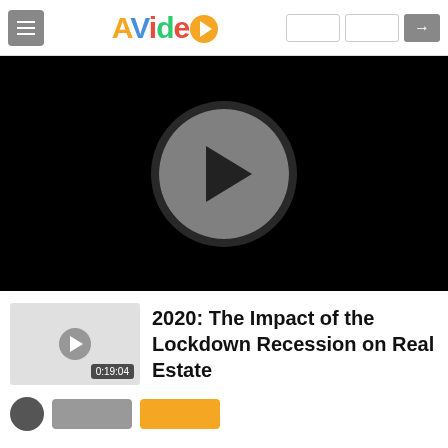[Figure (logo): AVideo logo with colorful letters and orange play button circle]
[Figure (screenshot): Video player with black background showing a gray play button circle]
[Figure (thumbnail): Small video thumbnail with gray play button and duration badge 0:19:04]
2020: The Impact of the Lockdown Recession on Real Estate